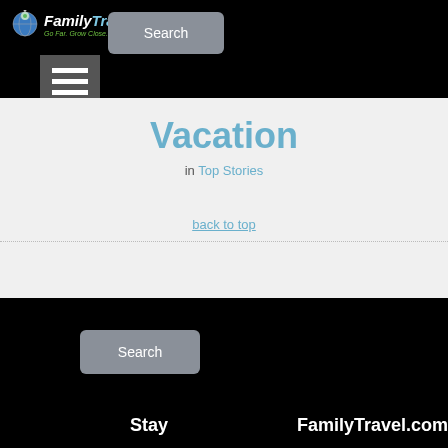FamilyTravel.com - Go Far. Grow Close.
[Figure (screenshot): Hamburger menu icon (three white horizontal lines on dark gray background)]
Vacation
in Top Stories
back to top
[Figure (screenshot): Search button in footer area]
Stay    FamilyTravel.com